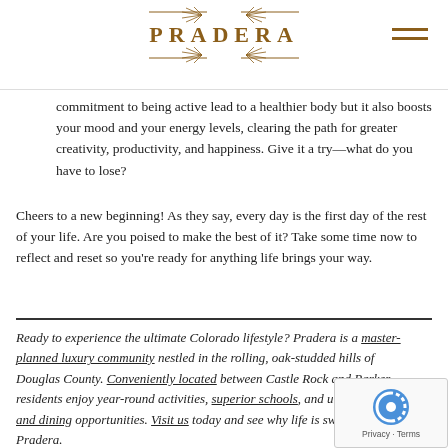PRADERA
commitment to being active lead to a healthier body but it also boosts your mood and your energy levels, clearing the path for greater creativity, productivity, and happiness. Give it a try—what do you have to lose?
Cheers to a new beginning! As they say, every day is the first day of the rest of your life. Are you poised to make the best of it? Take some time now to reflect and reset so you're ready for anything life brings your way.
Ready to experience the ultimate Colorado lifestyle? Pradera is a master-planned luxury community nestled in the rolling, oak-studded hills of Douglas County. Conveniently located between Castle Rock and Parker, residents enjoy year-round activities, superior schools, and unique shopping and dining opportunities. Visit us today and see why life is sweeter at Pradera.